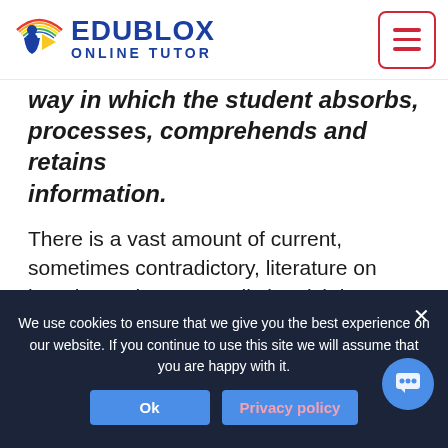Edublox Online Tutor - logo and navigation
way in which the student absorbs, processes, comprehends and retains information.
There is a vast amount of current, sometimes contradictory, literature on learning styles. Some distinguish between visual, auditory, and tactile/kinesthetic learners. Others distinguish between visual, aural, verbal, physical, logical, social, and solitary learning styles. Honey and Mumford (1982) distinguish between activists,
We use cookies to ensure that we give you the best experience on our website. If you continue to use this site we will assume that you are happy with it.